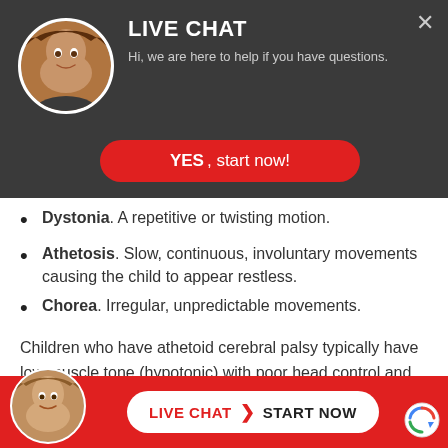[Figure (screenshot): Live chat overlay panel with avatar, title 'LIVE CHAT', subtitle text, and a red YES button]
Dystonia. A repetitive or twisting motion.
Athetosis. Slow, continuous, involuntary movements causing the child to appear restless.
Chorea. Irregular, unpredictable movements.
Children who have athetoid cerebral palsy typically have low muscle tone (hypotonic) with poor head control and marked head lag. They may develop increased variable muscle tone with rigidity and dystonia over several years. Feeding may be difficult, and tongue thrust
[Figure (screenshot): Bottom live chat bar with avatar, white pill button reading LIVE CHAT > START NOW on red background]